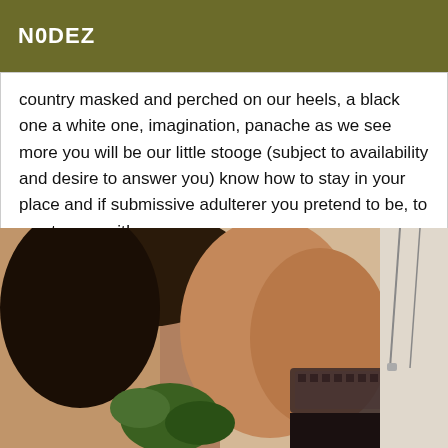N0DEZ
country masked and perched on our heels, a black one a white one, imagination, panache as we see more you will be our little stooge (subject to availability and desire to answer you) know how to stay in your place and if submissive adulterer you pretend to be, to you to prove it!
[Figure (photo): Close-up photo of a person wearing lace stockings with a plant in the foreground]